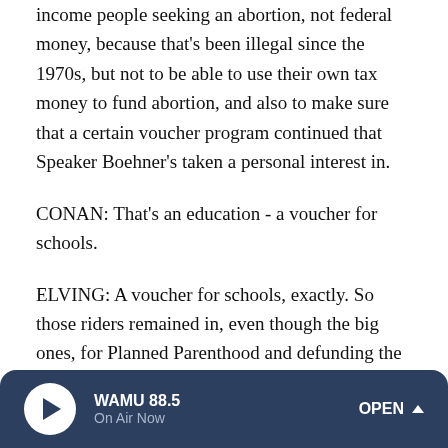income people seeking an abortion, not federal money, because that's been illegal since the 1970s, but not to be able to use their own tax money to fund abortion, and also to make sure that a certain voucher program continued that Speaker Boehner's taken a personal interest in.
CONAN: That's an education - a voucher for schools.
ELVING: A voucher for schools, exactly. So those riders remained in, even though the big ones, for Planned Parenthood and defunding the health care act and a number of other things having to do with greenhouse gas emission regulation and so on, were all stripped away. So a couple of little ones survived.
WAMU 88.5 On Air Now OPEN